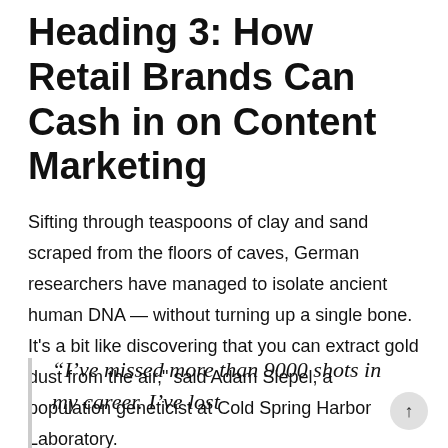Heading 3: How Retail Brands Can Cash in on Content Marketing
Sifting through teaspoons of clay and sand scraped from the floors of caves, German researchers have managed to isolate ancient human DNA — without turning up a single bone. It's a bit like discovering that you can extract gold dust from the air," said Adam Siepel, a population geneticist at Cold Spring Harbor Laboratory.
“I've missed more than 9000 shots in my career. I've lost